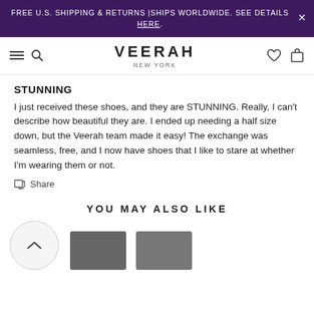FREE U.S. SHIPPING & RETURNS | SHIPS WORLDWIDE. SEE DETAILS HERE.
[Figure (logo): Veerah New York logo with hamburger menu, search, heart, and bag icons in navigation bar]
STUNNING
I just received these shoes, and they are STUNNING. Really, I can't describe how beautiful they are. I ended up needing a half size down, but the Veerah team made it easy! The exchange was seamless, free, and I now have shoes that I like to stare at whether I'm wearing them or not.
Share
YOU MAY ALSO LIKE
[Figure (screenshot): Navigation arrow circle button (chevron up) and two partial dark product thumbnail images at the bottom of the page]